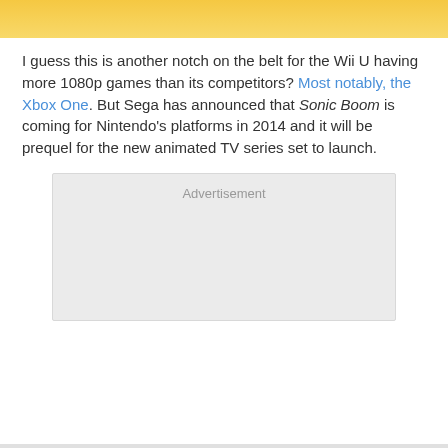[Figure (photo): Partial image at top of page with orange/yellow gradient background, bottom portion of an object visible]
I guess this is another notch on the belt for the Wii U having more 1080p games than its competitors? Most notably, the Xbox One. But Sega has announced that Sonic Boom is coming for Nintendo's platforms in 2014 and it will be prequel for the new animated TV series set to launch.
Advertisement